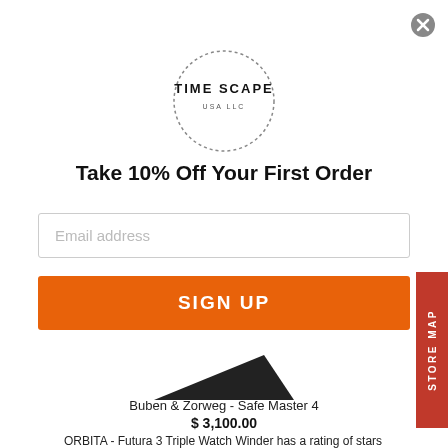[Figure (logo): Time Scape USA LLC logo — circular dotted border with 'TIME SCAPE USA LLC' text inside]
Take 10% Off Your First Order
Email address
SIGN UP
[Figure (photo): Partial image of a dark triangular product (watch winder or safe)]
Buben & Zorweg - Safe Master 4
$ 3,100.00
ORBITA - Futura 3 Triple Watch Winder has a rating of stars based on reviews.